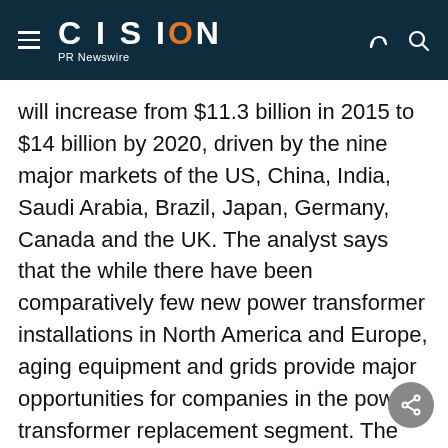CISION PR Newswire
will increase from $11.3 billion in 2015 to $14 billion by 2020, driven by the nine major markets of the US, China, India, Saudi Arabia, Brazil, Japan, Germany, Canada and the UK. The analyst says that the while there have been comparatively few new power transformer installations in North America and Europe, aging equipment and grids provide major opportunities for companies in the power transformer replacement segment. The European Union's plans to strengthen individual countries' power grids and establish a pan-European grid will also be a strong driver for the market, as it involves substantial investment in power transformers.